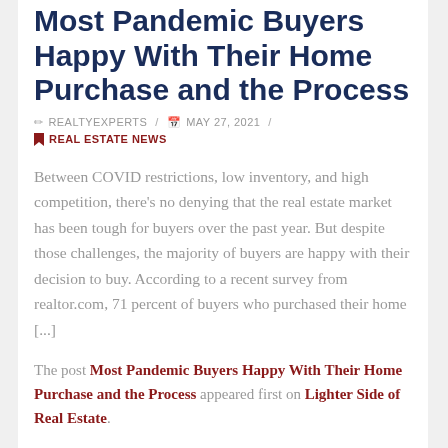Most Pandemic Buyers Happy With Their Home Purchase and the Process
REALTYEXPERTS / MAY 27, 2021 / REAL ESTATE NEWS
Between COVID restrictions, low inventory, and high competition, there's no denying that the real estate market has been tough for buyers over the past year. But despite those challenges, the majority of buyers are happy with their decision to buy. According to a recent survey from realtor.com, 71 percent of buyers who purchased their home [...]
The post Most Pandemic Buyers Happy With Their Home Purchase and the Process appeared first on Lighter Side of Real Estate.